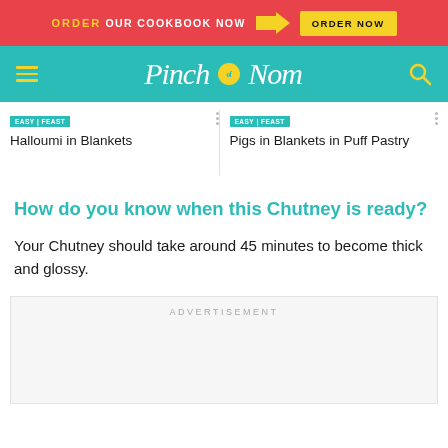ORDER OUR COOKBOOK NOW | ORDER NOW
[Figure (screenshot): Pinch of Nom navigation bar with teal background, hamburger menu, logo, and search icon]
Halloumi in Blankets
Pigs in Blankets in Puff Pastry
How do you know when this Chutney is ready?
Your Chutney should take around 45 minutes to become thick and glossy.
[Figure (other): Advertisement placeholder box]